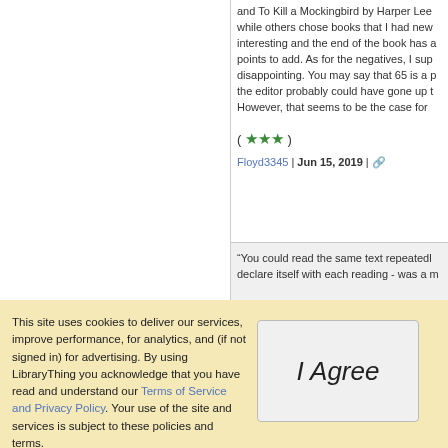and To Kill a Mockingbird by Harper Lee while others chose books that I had never heard of. I found it interesting and the end of the book has a few points to add. As for the negatives, I suppose disappointing. You may say that 65 is a p the editor probably could have gone up t However, that seems to be the case for
( ★★★ )
Floyd3345 | Jun 15, 2019 |
“You could read the same text repeatedly declare itself with each reading - was a m
This site uses cookies to deliver our services, improve performance, for analytics, and (if not signed in) for advertising. By using LibraryThing you acknowledge that you have read and understand our Terms of Service and Privacy Policy. Your use of the site and services is subject to these policies and terms.
[Figure (other): I Agree button]